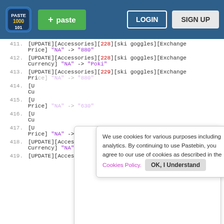[Figure (screenshot): Pastebin website header with logo, paste button, login and sign up buttons on a dark blue navbar]
411. [UPDATE][Accessories][228][ski goggles][Exchange Price] "NA" -> "880"
412. [UPDATE][Accessories][228][ski goggles][Exchange Currency] "NA" -> "Poki"
413. [UPDATE][Accessories][229][ski goggles][Exchange Price] "NA" -> "880"
414. [U... Cu... (partially hidden by cookie banner)
415. [U... Price] "NA" -> "630"
416. [U... Cu... (partially hidden by hello popup)
417. [U... Price] "NA" -> "630"
418. [UPDATE][Accessories][231][snorkel mask][Exchange Currency] "NA" -> "Poki"
419. [UPDATE][Accessories][232][snorkel mask][Exchange